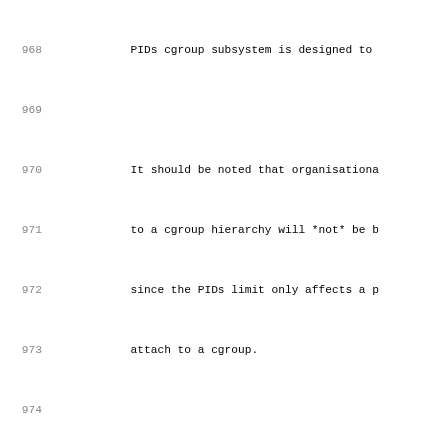968: PIDs cgroup subsystem is designed to
969: (empty)
970: It should be noted that organisationa
971: to a cgroup hierarchy will *not* be b
972: since the PIDs limit only affects a p
973: attach to a cgroup.
974: (empty)
975: config CGROUP_DEVICE
976: bool "Device controller for cgroups"
977: help
978: Provides a cgroup implementing whitel
979: a process in the cgroup can mknod or
980: (empty)
981: config CPUSETS
982: bool "Cpuset support"
983: help
984: This option will let you create and m
985: allow dynamically partitioning a syst
986: Memory Nodes and assigning tasks to n
987: This is primarily useful on large SMP
988: (empty)